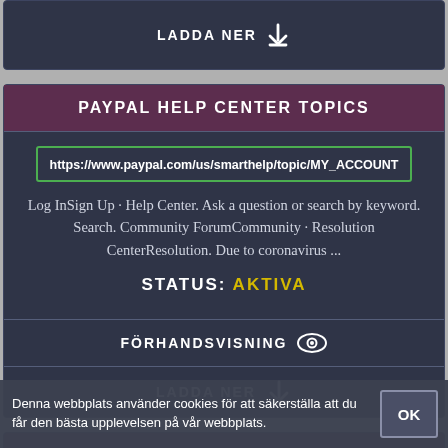LADDA NER
PAYPAL HELP CENTER TOPICS
https://www.paypal.com/us/smarthelp/topic/MY_ACCOUNT
Log InSign Up · Help Center. Ask a question or search by keyword. Search. Community ForumCommunity · Resolution CenterResolution. Due to coronavirus ...
STATUS: AKTIVA
FÖRHANDSVISNING
LADDA NER
Denna webbplats använder cookies för att säkerställa att du får den bästa upplevelsen på vår webbplats.